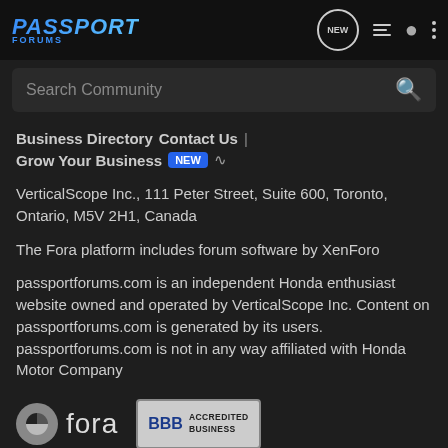PASSPORT FORUMS
Search Community
Business Directory
Contact Us
Grow Your Business NEW
VerticalScope Inc., 111 Peter Street, Suite 600, Toronto, Ontario, M5V 2H1, Canada
The Fora platform includes forum software by XenForo
passportforums.com is an independent Honda enthusiast website owned and operated by VerticalScope Inc. Content on passportforums.com is generated by its users. passportforums.com is not in any way affiliated with Honda Motor Company
[Figure (logo): Fora logo with stylized circle icon and 'fora' text]
[Figure (logo): BBB Accredited Business badge]